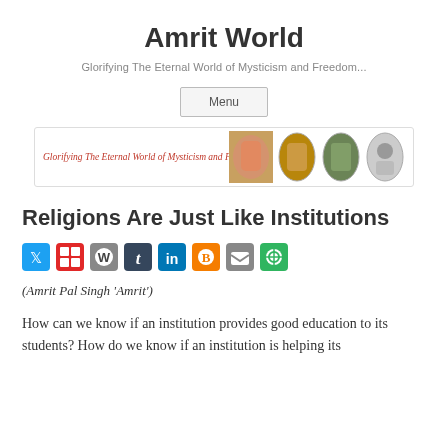Amrit World
Glorifying The Eternal World of Mysticism and Freedom...
Menu
[Figure (illustration): Website banner strip showing italic red text 'Glorifying The Eternal World of Mysticism and Freedom....' and four thumbnail images of a person in orange robes in oval/circle frames]
Religions Are Just Like Institutions
[Figure (infographic): Row of social sharing icons: Twitter (blue), Flipboard (red squares), WordPress (grey), Tumblr (dark blue), LinkedIn (blue), Blogger (orange), Email (grey), Share (green)]
(Amrit Pal Singh 'Amrit')
How can we know if an institution provides good education to its students? How do we know if an institution is helping its